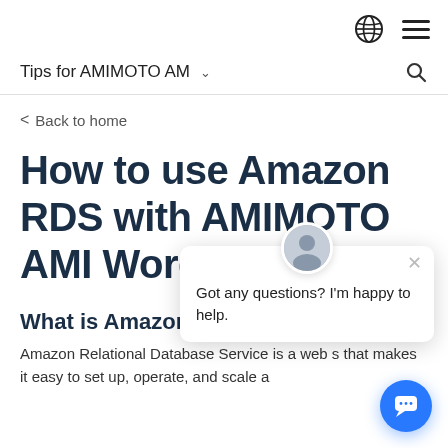Tips for AMIMOTO AM
< Back to home
How to use Amazon RDS with AMIMOTO AMI WordPress
What is Amazon RDS
Amazon Relational Database Service is a web s that makes it easy to set up, operate, and scale a
[Figure (other): Chat popup with avatar, close button, and message: Got any questions? I'm happy to help.]
[Figure (other): Blue circular chat button with speech bubble icon]